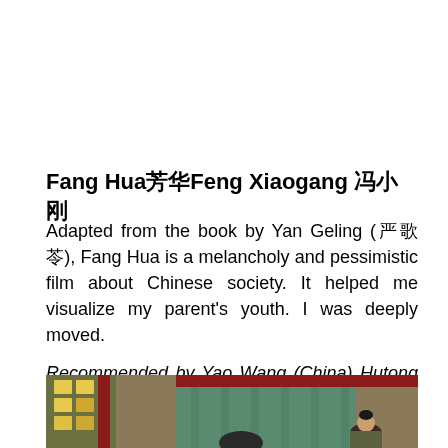Fang Hua芳华Feng Xiaogang 冯小刚
Adapted from the book by Yan Geling (严歌苓), Fang Hua is a melancholy and pessimistic film about Chinese society. It helped me visualize my parent's youth. I was deeply moved.
Recommended by Yao Wang (China) Hutong Culinary Coordinator
[Figure (photo): Scene from the film Fang Hua showing two figures in a hall with green curtain backdrop and yellow-lit windows on the left]